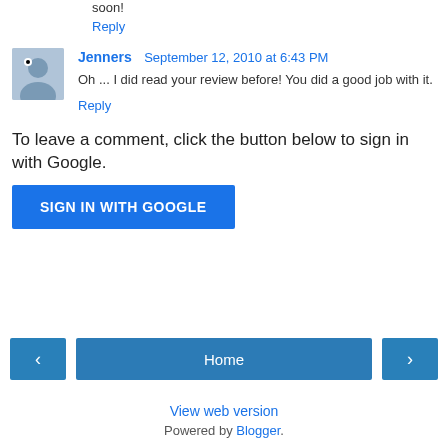soon!
Reply
Jenners  September 12, 2010 at 6:43 PM
Oh ... I did read your review before! You did a good job with it.
Reply
To leave a comment, click the button below to sign in with Google.
SIGN IN WITH GOOGLE
[Figure (screenshot): Navigation bar with left arrow button, Home button, and right arrow button]
View web version
Powered by Blogger.